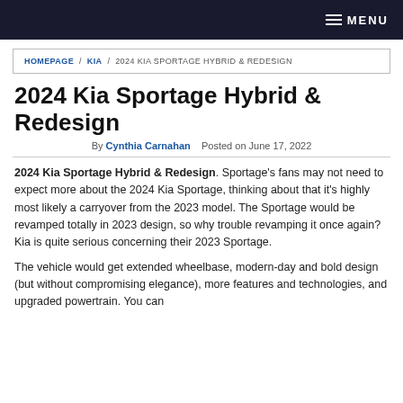MENU
HOMEPAGE / KIA / 2024 KIA SPORTAGE HYBRID & REDESIGN
2024 Kia Sportage Hybrid & Redesign
By Cynthia Carnahan   Posted on June 17, 2022
2024 Kia Sportage Hybrid & Redesign. Sportage's fans may not need to expect more about the 2024 Kia Sportage, thinking about that it's highly most likely a carryover from the 2023 model. The Sportage would be revamped totally in 2023 design, so why trouble revamping it once again? Kia is quite serious concerning their 2023 Sportage.
The vehicle would get extended wheelbase, modern-day and bold design (but without compromising elegance), more features and technologies, and upgraded powertrain. You can